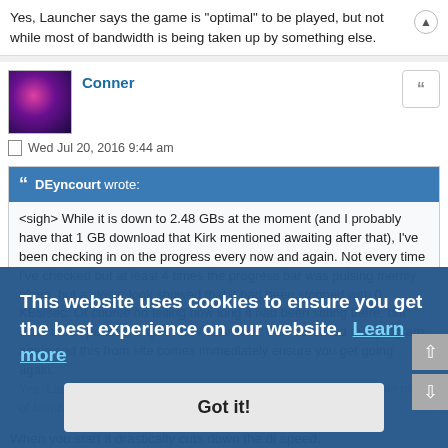Yes, Launcher says the game is "optimal" to be played, but not while most of bandwidth is being taken up by something else.
Conner
Wed Jul 20, 2016 9:44 am
DEyncourt wrote:
<sigh> While it is down to 2.48 GBs at the moment (and I probably have that 1 GB download that Kirk mentioned awaiting after that), I've been checking in on the progress every now and again. Not every time I've checked but at least 4 times the progress bar was pulsing merrily along, but a closer look showed that it had been stopped with 0 KBs/sec. Of course no telling how long it had been sitting there, but each time I paused it, quit WoW Launcher, then restarted that program again and this from site comes immediately ensure you get going again.
Yes, Launcher says the game is "optimal" to be played, but not while most of bandwidth is being taken up by something else.
When you start it drastically cuts down the dl speed.
This website uses cookies to ensure you get the best experience on our website. Learn more
Got it!